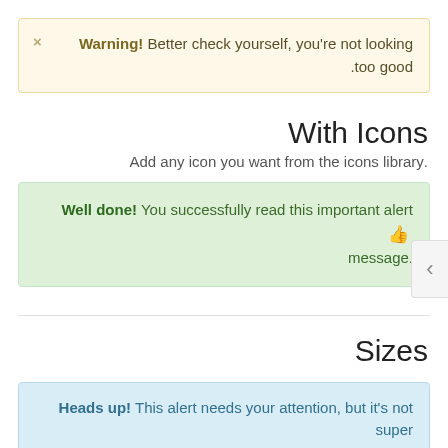Warning! Better check yourself, you're not looking too good.
With Icons
Add any icon you want from the icons library.
Well done! You successfully read this important alert message.
Sizes
Heads up! This alert needs your attention, but it's not super